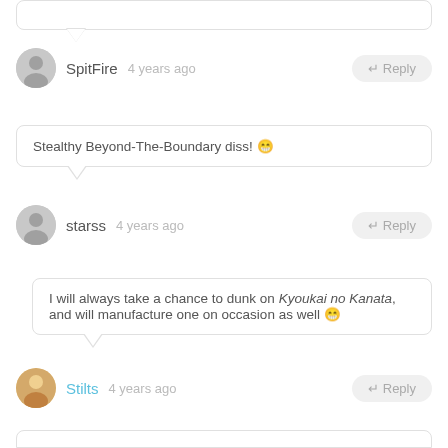SpitFire  4 years ago
Stealthy Beyond-The-Boundary diss! 😁
starss  4 years ago
I will always take a chance to dunk on Kyoukai no Kanata, and will manufacture one on occasion as well 😁
Stilts  4 years ago